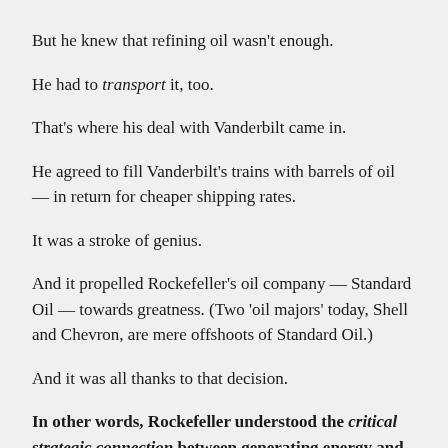But he knew that refining oil wasn't enough.
He had to transport it, too.
That's where his deal with Vanderbilt came in.
He agreed to fill Vanderbilt's trains with barrels of oil — in return for cheaper shipping rates.
It was a stroke of genius.
And it propelled Rockefeller's oil company — Standard Oil — towards greatness. (Two 'oil majors' today, Shell and Chevron, are mere offshoots of Standard Oil.)
And it was all thanks to that decision.
In other words, Rockefeller understood the critical strategic connection between generating energy and transporting that energy to where it's needed.
It's a connection that is still vital today.
And no more so than in the green energy market.